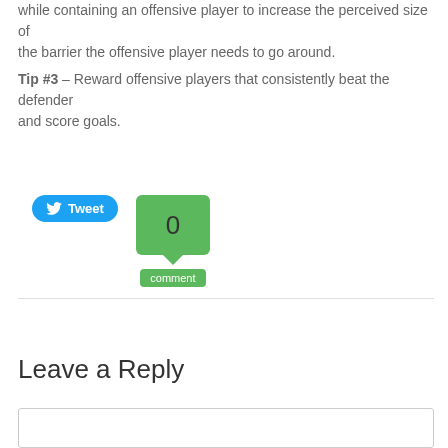while containing an offensive player to increase the perceived size of the barrier the offensive player needs to go around.
Tip #3 – Reward offensive players that consistently beat the defender and score goals.
[Figure (other): Tweet button (blue rounded rectangle with Twitter bird icon) and a green comment bubble showing count 0 with a 'comment' label below]
Leave a Reply